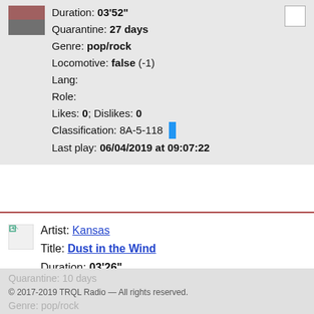Duration: 03'52"
Quarantine: 27 days
Genre: pop/rock
Locomotive: false (-1)
Lang:
Role:
Likes: 0; Dislikes: 0
Classification: 8A-5-118
Last play: 06/04/2019 at 09:07:22
Artist: Kansas
Title: Dust in the Wind
Duration: 03'26"
Quarantine: 10 days
© 2017-2019 TRQL Radio — All rights reserved.
Genre: pop/rock